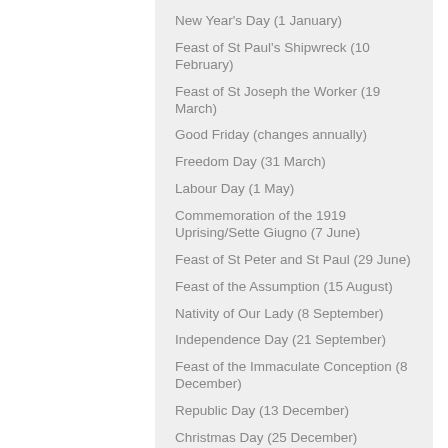New Year's Day (1 January)
Feast of St Paul's Shipwreck (10 February)
Feast of St Joseph the Worker (19 March)
Good Friday (changes annually)
Freedom Day (31 March)
Labour Day (1 May)
Commemoration of the 1919 Uprising/Sette Giugno (7 June)
Feast of St Peter and St Paul (29 June)
Feast of the Assumption (15 August)
Nativity of Our Lady (8 September)
Independence Day (21 September)
Feast of the Immaculate Conception (8 December)
Republic Day (13 December)
Christmas Day (25 December)